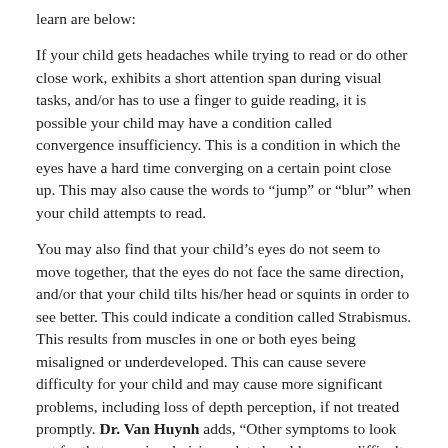learn are below:
If your child gets headaches while trying to read or do other close work, exhibits a short attention span during visual tasks, and/or has to use a finger to guide reading, it is possible your child may have a condition called convergence insufficiency. This is a condition in which the eyes have a hard time converging on a certain point close up. This may also cause the words to “jump” or “blur” when your child attempts to read.
You may also find that your child’s eyes do not seem to move together, that the eyes do not face the same direction, and/or that your child tilts his/her head or squints in order to see better. This could indicate a condition called Strabismus. This results from muscles in one or both eyes being misaligned or underdeveloped. This can cause severe difficulty for your child and may cause more significant problems, including loss of depth perception, if not treated promptly. Dr. Van Huynh adds, “Other symptoms to look out for that may signal vision-related problems are difficulty remembering or identifying shapes, difficulty remembering what was read, excessive blinking or rubbing of his/her eyes, or placing his/her head very close to the book or desk when reading or writing”.